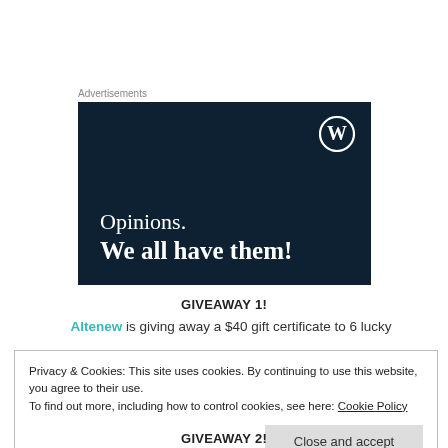Advertisements
[Figure (illustration): WordPress advertisement banner with dark navy background. WordPress logo (circle W) in top right. Text reads: 'Opinions. We all have them!']
GIVEAWAY 1!
Altenew is giving away a $40 gift certificate to 6 lucky
Privacy & Cookies: This site uses cookies. By continuing to use this website, you agree to their use.
To find out more, including how to control cookies, see here: Cookie Policy
Close and accept
GIVEAWAY 2!